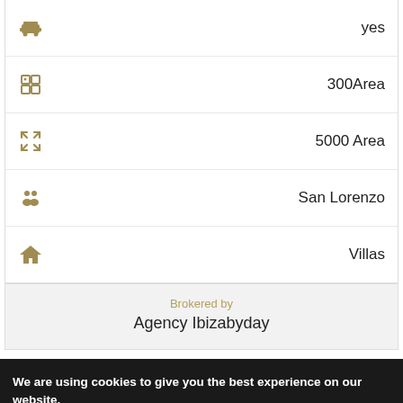| Icon | Value |
| --- | --- |
| [car icon] | yes |
| [area icon] | 300Area |
| [expand icon] | 5000 Area |
| [people icon] | San Lorenzo |
| [house icon] | Villas |
Brokered by
Agency Ibizabyday
We are using cookies to give you the best experience on our website.
You can find out more about which cookies we are using or switch them off in settings.
Chat with IbizabyDay Real Estate
Hi! How can we help you?